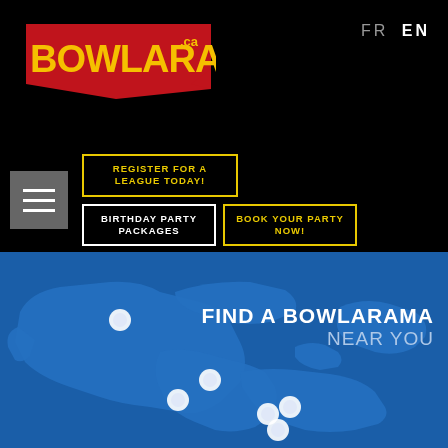BOWLARAMA.ca — FR EN
REGISTER FOR A LEAGUE TODAY!
BIRTHDAY PARTY PACKAGES
BOOK YOUR PARTY NOW!
[Figure (map): Blue illustrated map of eastern Canada showing location pins for Bowlarama bowling centers in Quebec, New Brunswick, Nova Scotia and surrounding regions. Multiple white circle markers indicate bowling center locations clustered in southern Quebec/New Brunswick and Nova Scotia area.]
FIND A BOWLARAMA NEAR YOU